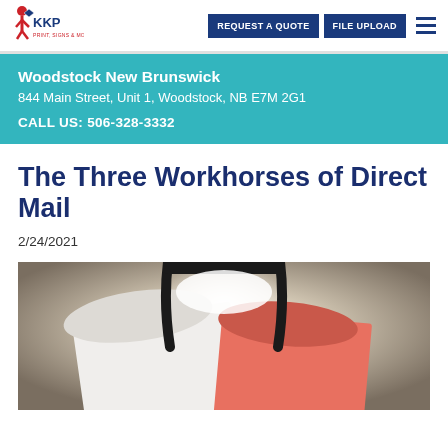KKP | REQUEST A QUOTE | FILE UPLOAD
Woodstock New Brunswick
844 Main Street, Unit 1, Woodstock, NB E7M 2G1
CALL US: 506-328-3332
The Three Workhorses of Direct Mail
2/24/2021
[Figure (photo): Close-up photo of mail envelopes passing through a mail slot, showing white and pink/orange envelopes with a dark metal mail slot frame against a glowing background.]